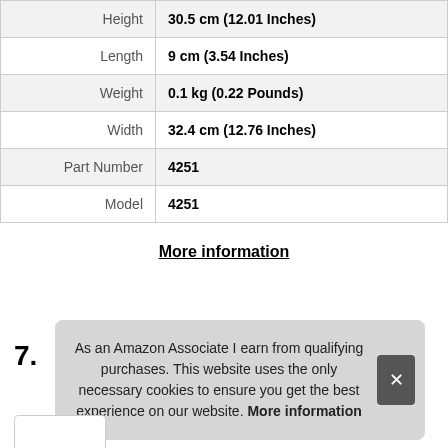| Property | Value |
| --- | --- |
| Height | 30.5 cm (12.01 Inches) |
| Length | 9 cm (3.54 Inches) |
| Weight | 0.1 kg (0.22 Pounds) |
| Width | 32.4 cm (12.76 Inches) |
| Part Number | 4251 |
| Model | 4251 |
More information
7.
As an Amazon Associate I earn from qualifying purchases. This website uses the only necessary cookies to ensure you get the best experience on our website. More information